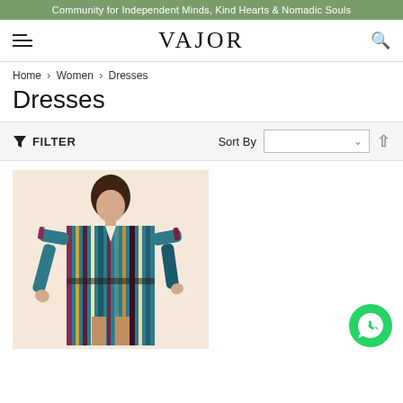Community for Independent Minds, Kind Hearts & Nomadic Souls
VAJOR
Home > Women > Dresses
Dresses
FILTER   Sort By
[Figure (photo): A woman wearing a multicolored vertical-stripe long-sleeve dress, standing against a light beige background.]